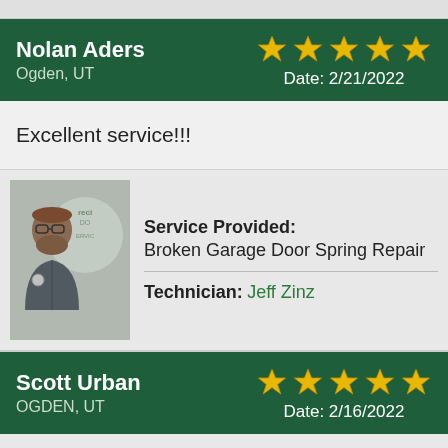Nolan Aders
Ogden, UT
★★★★★
Date: 2/21/2022
Excellent service!!!
[Figure (photo): Photo of technician Jeff Zinz in Precision Door Service uniform with company logo in background]
Service Provided: Broken Garage Door Spring Repair
Technician: Jeff Zinz
Scott Urban
OGDEN, UT
★★★★★
Date: 2/16/2022